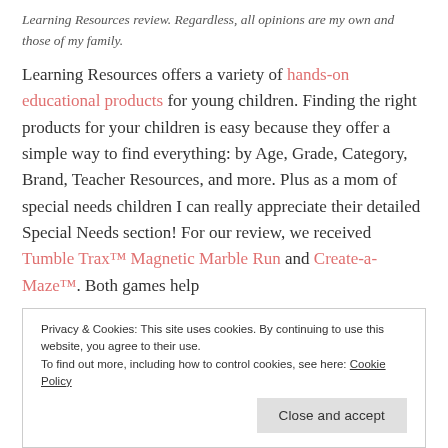Learning Resources review. Regardless, all opinions are my own and those of my family.
Learning Resources offers a variety of hands-on educational products for young children. Finding the right products for your children is easy because they offer a simple way to find everything: by Age, Grade, Category, Brand, Teacher Resources, and more. Plus as a mom of special needs children I can really appreciate their detailed Special Needs section! For our review, we received Tumble Trax™ Magnetic Marble Run and Create-a-Maze™. Both games help
Privacy & Cookies: This site uses cookies. By continuing to use this website, you agree to their use. To find out more, including how to control cookies, see here: Cookie Policy